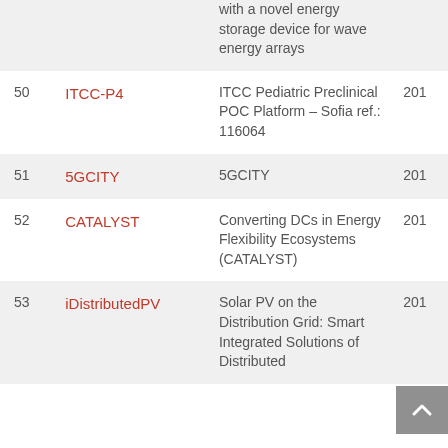| # | Acronym | Title | Year |
| --- | --- | --- | --- |
|  |  | with a novel energy storage device for wave energy arrays |  |
| 50 | ITCC-P4 | ITCC Pediatric Preclinical POC Platform – Sofia ref.: 116064 | 201 |
| 51 | 5GCITY | 5GCITY | 201 |
| 52 | CATALYST | Converting DCs in Energy Flexibility Ecosystems (CATALYST) | 201 |
| 53 | iDistributedPV | Solar PV on the Distribution Grid: Smart Integrated Solutions of Distributed | 201 |